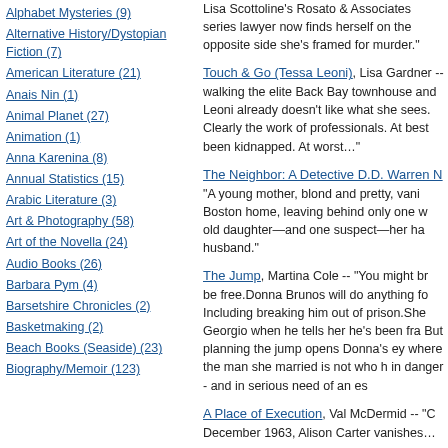Alphabet Mysteries (9)
Alternative History/Dystopian Fiction (7)
American Literature (21)
Anais Nin (1)
Animal Planet (27)
Animation (1)
Anna Karenina (8)
Annual Statistics (15)
Arabic Literature (3)
Art & Photography (58)
Art of the Novella (24)
Audio Books (26)
Barbara Pym (4)
Barsetshire Chronicles (2)
Basketmaking (2)
Beach Books (Seaside) (23)
Biography/Memoir (123)
Lisa Scottoline's Rosato & Associates series lawyer now finds herself on the opposite side she's framed for murder."
Touch & Go (Tessa Leoni), Lisa Gardner -- walking the elite Back Bay townhouse and Leoni already doesn't like what she sees. Clearly the work of professionals. At best been kidnapped. At worst…"
The Neighbor: A Detective D.D. Warren Novel -- "A young mother, blond and pretty, vanishes from her Boston home, leaving behind only one witness—her four-year-old daughter—and one suspect—her handsome, bewildered husband."
The Jump, Martina Cole -- "You might bring yourself to be free. Donna Brunos will do anything for Georgio. Including breaking him out of prison. She believed Georgio when he tells her he's been framed. But planning the jump opens Donna's eyes to a world where the man she married is not who he seems. She's in danger - and in serious need of an escape plan."
A Place of Execution, Val McDermid -- "On a cold December 1963, Alison Carter vanishes…"